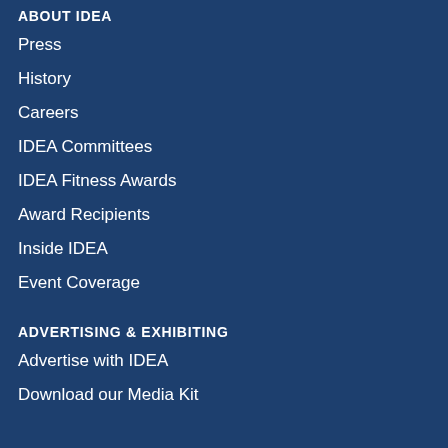ABOUT IDEA
Press
History
Careers
IDEA Committees
IDEA Fitness Awards
Award Recipients
Inside IDEA
Event Coverage
ADVERTISING & EXHIBITING
Advertise with IDEA
Download our Media Kit